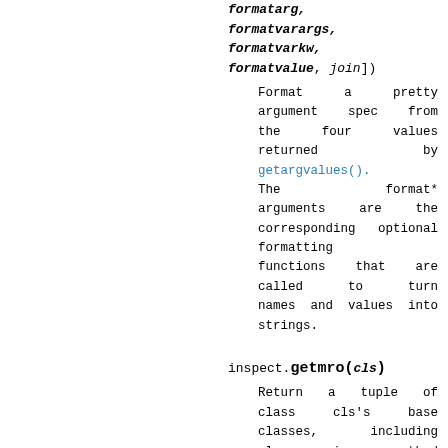formatarg, formatvarargs, formatvarkw, formatvalue, join])
Format a pretty argument spec from the four values returned by getargvalues(). The format* arguments are the corresponding optional formatting functions that are called to turn names and values into strings.
inspect.getmro(cls)
Return a tuple of class cls's base classes, including cls, in method resolution order. No class appears more than once in this tuple. Note that the method